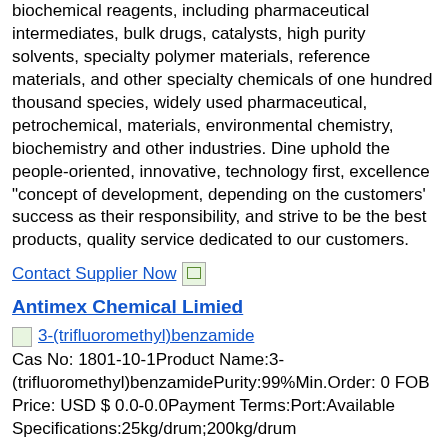biochemical reagents, including pharmaceutical intermediates, bulk drugs, catalysts, high purity solvents, specialty polymer materials, reference materials, and other specialty chemicals of one hundred thousand species, widely used pharmaceutical, petrochemical, materials, environmental chemistry, biochemistry and other industries. Dine uphold the people-oriented, innovative, technology first, excellence "concept of development, depending on the customers' success as their responsibility, and strive to be the best products, quality service dedicated to our customers.
Contact Supplier Now
Antimex Chemical Limied
[Figure (other): Small product image icon for 3-(trifluoromethyl)benzamide]
3-(trifluoromethyl)benzamide
Cas No: 1801-10-1Product Name:3-(trifluoromethyl)benzamidePurity:99%Min.Order: 0 FOB Price: USD $ 0.0-0.0Payment Terms:Port:Available Specifications:25kg/drum;200kg/drum
Company Information
Business Type:Lab/Research institutionsTel:0086-21-50563169Address:Room1027,No.Jinyu Road,Pudong